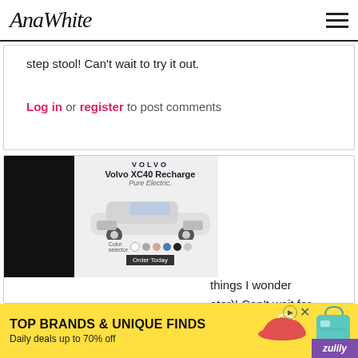AnaWhite
step stool! Can't wait to try it out.
Log in or register to post comments
Guest (not verified)
Thu, 07/07/2011 - 10:57
[Figure (photo): Volvo XC40 Recharge Pure Electric advertisement with car image and color selector]
things I wonder ater)! Can't wait for nk you Ana!
ts
[Figure (photo): Bottom banner ad: TOP BRANDS & UNIQUE FINDS - Daily deals up to 70% off - Zulily]